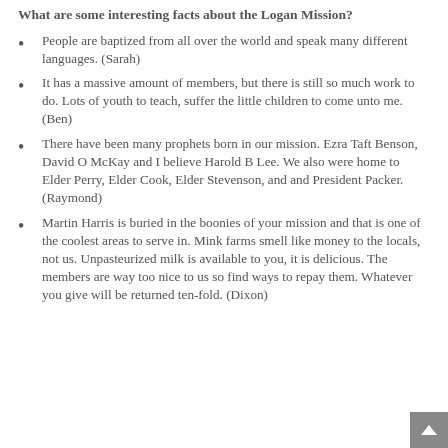What are some interesting facts about the Logan Mission?
People are baptized from all over the world and speak many different languages. (Sarah)
It has a massive amount of members, but there is still so much work to do. Lots of youth to teach, suffer the little children to come unto me. (Ben)
There have been many prophets born in our mission. Ezra Taft Benson, David O McKay and I believe Harold B Lee. We also were home to Elder Perry, Elder Cook, Elder Stevenson, and and President Packer. (Raymond)
Martin Harris is buried in the boonies of your mission and that is one of the coolest areas to serve in. Mink farms smell like money to the locals, not us. Unpasteurized milk is available to you, it is delicious. The members are way too nice to us so find ways to repay them. Whatever you give will be returned ten-fold. (Dixon)